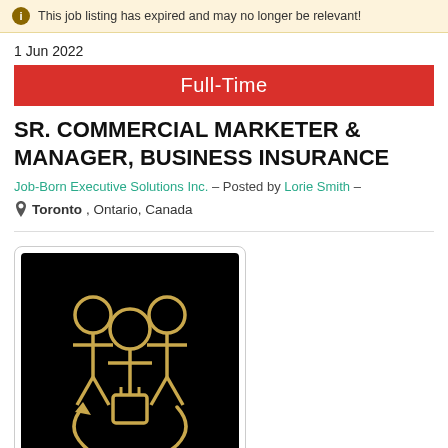This job listing has expired and may no longer be relevant!
1 Jun 2022
Full-Time
SR. COMMERCIAL MARKETER & MANAGER, BUSINESS INSURANCE
Job-Born Executive Solutions Inc. – Posted by Lorie Smith –
Toronto, Ontario, Canada
[Figure (logo): Job-Born Executive Solutions Inc. logo: gold outline of three people figures with an upward arrow on a black background]